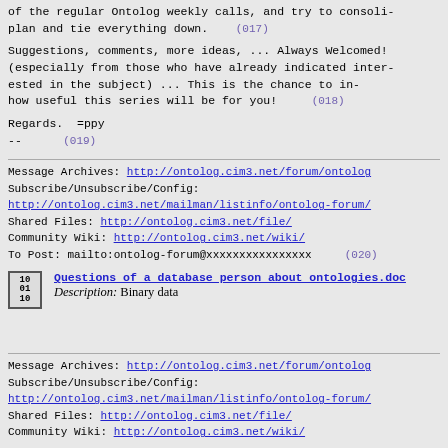of the regular Ontolog weekly calls, and try to consoli- plan and tie everything down. (017)
Suggestions, comments, more ideas, ... Always Welcomed! (especially from those who have already indicated inter- ested in the subject) ... This is the chance to in- how useful this series will be for you! (018)
Regards.  =ppy
-- (019)
Message Archives: http://ontolog.cim3.net/forum/ontolog
Subscribe/Unsubscribe/Config:
http://ontolog.cim3.net/mailman/listinfo/ontolog-forum/
Shared Files: http://ontolog.cim3.net/file/
Community Wiki: http://ontolog.cim3.net/wiki/
To Post: mailto:ontolog-forum@xxxxxxxxxxxxxxxx (020)
[Figure (other): Document icon for attachment]
Questions of a database person about ontologies.doc
Description: Binary data
Message Archives: http://ontolog.cim3.net/forum/ontolog
Subscribe/Unsubscribe/Config:
http://ontolog.cim3.net/mailman/listinfo/ontolog-forum/
Shared Files: http://ontolog.cim3.net/file/
Community Wiki: http://ontolog.cim3.net/wiki/